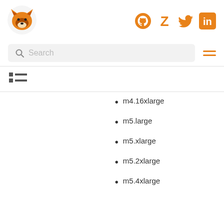[Figure (logo): Orange fox logo (head of a fox in orange/brown tones, circular)]
[Figure (logo): Social media icons: GitHub (octocat), Zotero (Z), Twitter (bird), LinkedIn (in) - all in orange]
[Figure (other): Search bar with magnifying glass icon and 'Search' placeholder text, plus hamburger menu icon in orange]
[Figure (other): Table of contents / list icon (bullet list icon in dark)]
m4.16xlarge
m5.large
m5.xlarge
m5.2xlarge
m5.4xlarge